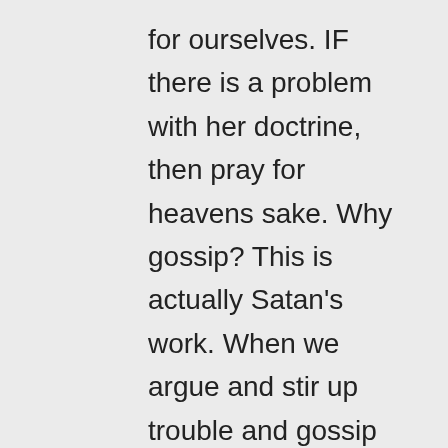for ourselves. IF there is a problem with her doctrine, then pray for heavens sake. Why gossip? This is actually Satan's work. When we argue and stir up trouble and gossip and speculate. Read Romans. In fact read the New Testament. Paul, Peter and James talk about it. I'm not saying don't stand up for the truth, but remember, we 've got one enemy in common and it's Satan. Our enemy wants nothing more than to see us fighting. What